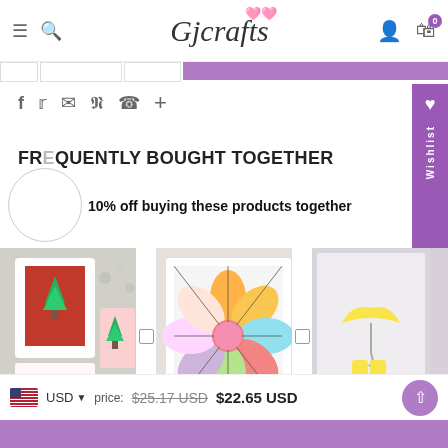Gjcrafts — navigation header with menu, search, account, cart (0)
[Figure (logo): Gjcrafts logo in italic script with pink hearts above]
f  Twitter  Email  Pinterest  WhatsApp  +
FREQUENTLY BOUGHT TOGETHER
10% off buying these products together
[Figure (photo): Three craft card product photos in a row: Christmas card with tree, colorful flower pattern card, yellow umbrella card]
Price: $25.17 USD  $22.65 USD
USD currency selector, price: $25.17 USD $22.65 USD, scroll to top button